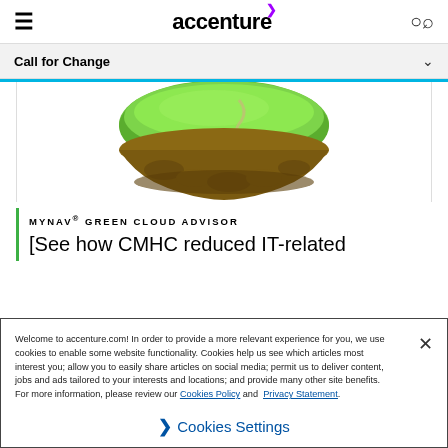accenture
Call for Change
[Figure (illustration): Floating island with green grass on top and rocky underside, with a winding path visible on the grassy surface]
MYNAV® GREEN CLOUD ADVISOR
[See how CMHC reduced IT-related
Welcome to accenture.com! In order to provide a more relevant experience for you, we use cookies to enable some website functionality. Cookies help us see which articles most interest you; allow you to easily share articles on social media; permit us to deliver content, jobs and ads tailored to your interests and locations; and provide many other site benefits. For more information, please review our Cookies Policy and Privacy Statement.
Cookies Settings